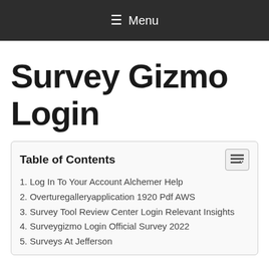≡ Menu
Survey Gizmo Login
Table of Contents
1. Log In To Your Account Alchemer Help
2. Overturegalleryapplication 1920 Pdf AWS
3. Survey Tool Review Center Login Relevant Insights
4. Surveygizmo Login Official Survey 2022
5. Surveys At Jefferson